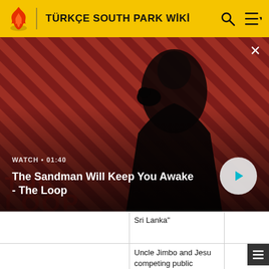TÜRKÇE SOUTH PARK WİKİ
[Figure (screenshot): Video thumbnail for 'The Sandman Will Keep You Awake - The Loop'. Shows a dark figure with a raven against a red and dark striped background. Watch duration shown as 01:40. Play button visible.]
WATCH • 01:40
The Sandman Will Keep You Awake - The Loop
|  | Sri Lanka" |  |
|  | Uncle Jimbo and Jesu competing public access |  |
| Dosya:CityontheEdgeofForever01.gif | "City on the Edge of | June 17, 1998 |